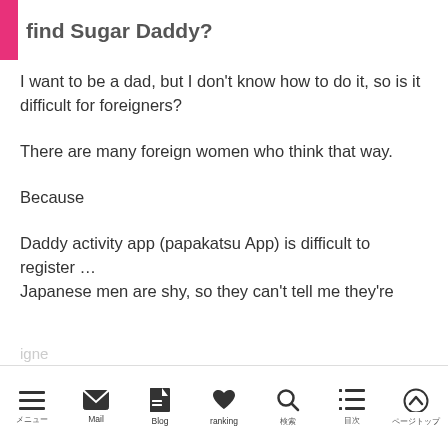find Sugar Daddy?
I want to be a dad, but I don't know how to do it, so is it difficult for foreigners?
There are many foreign women who think that way.
Because
Daddy activity app (papakatsu App) is difficult to register …
Japanese men are shy, so they can't tell me they're
メニュー  Mail  Blog  ranking  検索  目次  ページトップ